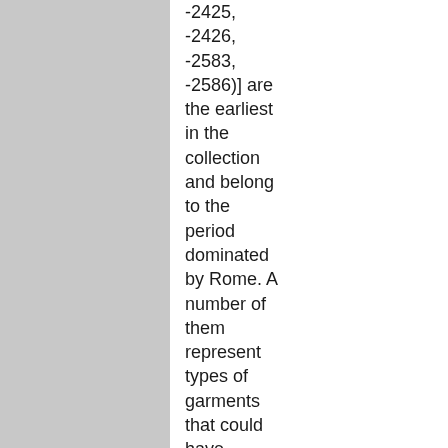[Figure (other): Gray rectangular panel on the left side of the page]
-2425, -2426, -2583, -2586)] are the earliest in the collection and belong to the period dominated by Rome. A number of them represent types of garments that could have indicated social rank or would have been appropriate wear for